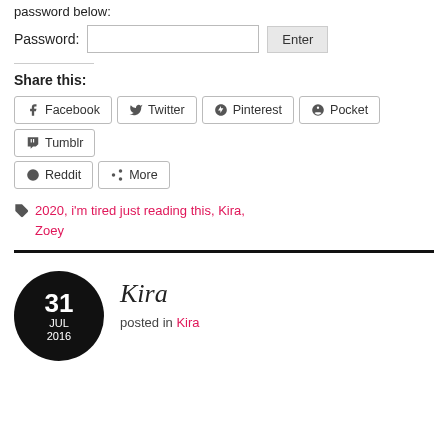password below:
Password: [input] Enter
Share this:
Facebook
Twitter
Pinterest
Pocket
Tumblr
Reddit
More
2020, i'm tired just reading this, Kira, Zoey
Kira
posted in Kira
31 JUL 2016